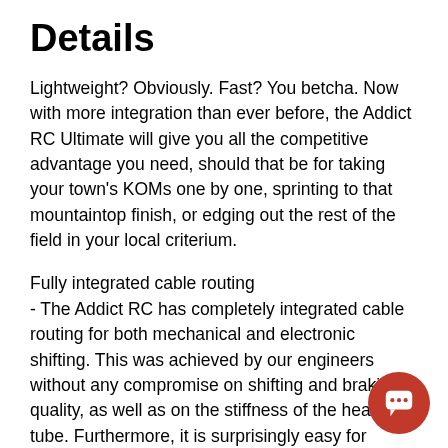Details
Lightweight? Obviously. Fast? You betcha. Now with more integration than ever before, the Addict RC Ultimate will give you all the competitive advantage you need, should that be for taking your town’s KOMs one by one, sprinting to that mountaintop finish, or edging out the rest of the field in your local criterium.
Fully integrated cable routing
- The Addict RC has completely integrated cable routing for both mechanical and electronic shifting. This was achieved by our engineers without any compromise on shifting and braking quality, as well as on the stiffness of the head tube. Furthermore, it is surprisingly easy for mechanics to change cables and maintain the bike.
Hollow structure
- The complete frameset is built hollow and has a never...